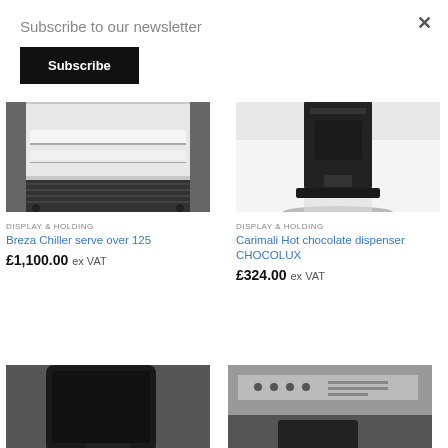Subscribe to our newsletter
Subscribe
×
[Figure (photo): Breza Chiller serve over 125 product photo showing a refrigerated display unit with white interior shelves and black vented base]
DISPLAY & HOLDING
Breza Chiller serve over 125
£1,100.00 ex VAT
[Figure (photo): Carimali Hot chocolate dispenser CHOCOLUX product photo showing black machine base on white surface]
DISPLAY & HOLDING
Carimali Hot chocolate dispenser CHOCOLUX
£324.00 ex VAT
[Figure (photo): Black tablet or POS terminal device shown at an angle on a stand]
[Figure (photo): Kitchen or commercial equipment showing metal housing with control panel]